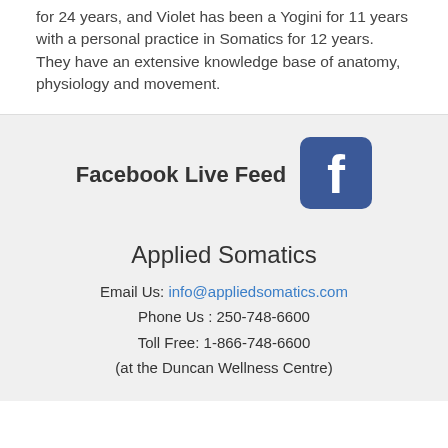for 24 years, and Violet has been a Yogini for 11 years with a personal practice in Somatics for 12 years.  They have an extensive knowledge base of anatomy, physiology and movement.
[Figure (logo): Facebook logo icon — blue rounded square with white 'f' letterform]
Facebook Live Feed
Applied Somatics
Email Us: info@appliedsomatics.com
Phone Us : 250-748-6600
Toll Free: 1-866-748-6600
(at the Duncan Wellness Centre)